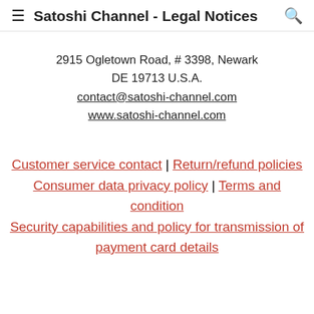Satoshi Channel - Legal Notices
2915 Ogletown Road, # 3398, Newark
DE 19713 U.S.A.
contact@satoshi-channel.com
www.satoshi-channel.com
Customer service contact | Return/refund policies
Consumer data privacy policy | Terms and condition
Security capabilities and policy for transmission of payment card details